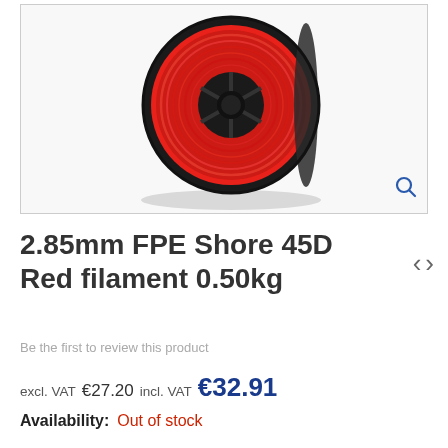[Figure (photo): Red 3D printer filament spool (2.85mm FPE Shore 45D, 0.50kg) on white background with magnify icon in bottom-right corner]
2.85mm FPE Shore 45D Red filament 0.50kg
Be the first to review this product
excl. VAT €27.20 incl. VAT €32.91
Availability:  Out of stock